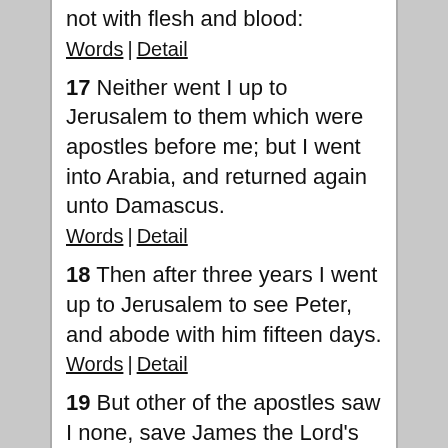not with flesh and blood:
Words | Detail
17  Neither went I up to Jerusalem to them which were apostles before me; but I went into Arabia, and returned again unto Damascus.
Words | Detail
18  Then after three years I went up to Jerusalem to see Peter, and abode with him fifteen days.
Words | Detail
19  But other of the apostles saw I none, save James the Lord's brother.